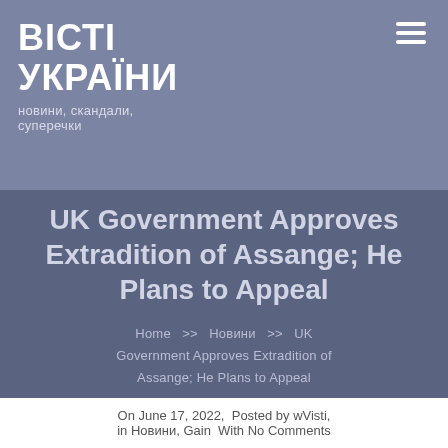ВІСТІ УКРАЇНИ
новини, скандали, суперечки
UK Government Approves Extradition of Assange; He Plans to Appeal
Home >> Новини >> UK Government Approves Extradition of Assange; He Plans to Appeal
On June 17, 2022,  Posted by wVisti,  in Новини, Gain  With No Comments